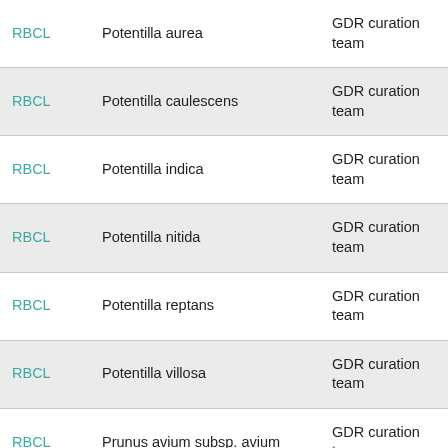| RBCL | Potentilla aurea | GDR curation team |
| RBCL | Potentilla caulescens | GDR curation team |
| RBCL | Potentilla indica | GDR curation team |
| RBCL | Potentilla nitida | GDR curation team |
| RBCL | Potentilla reptans | GDR curation team |
| RBCL | Potentilla villosa | GDR curation team |
| RBCL | Prunus avium subsp. avium | GDR curation team |
| RBCL | Prunus cerasifera | GDR curation team |